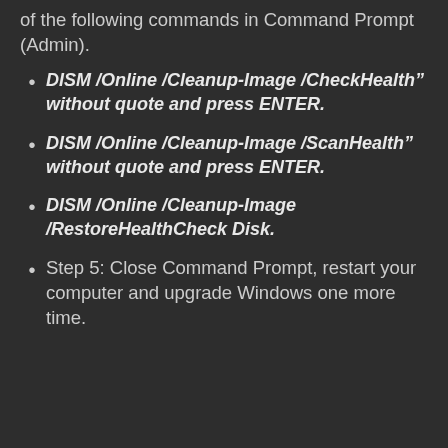of the following commands in Command Prompt (Admin).
DISM /Online /Cleanup-Image /CheckHealth" without quote and press ENTER.
DISM /Online /Cleanup-Image /ScanHealth" without quote and press ENTER.
DISM /Online /Cleanup-Image /RestoreHealthCheck Disk.
Step 5: Close Command Prompt, restart your computer and upgrade Windows one more time.